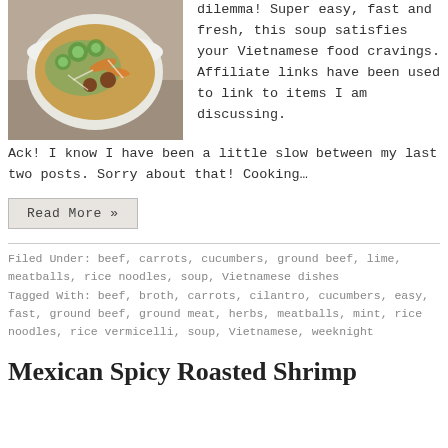[Figure (photo): Bowl of Vietnamese soup with vegetables, noodles, and broth viewed from above]
dilemma! Super easy, fast and fresh, this soup satisfies your Vietnamese food cravings. Affiliate links have been used to link to items I am discussing. Ack! I know I have been a little slow between my last two posts. Sorry about that! Cooking…
Read More »
Filed Under: beef, carrots, cucumbers, ground beef, lime, meatballs, rice noodles, soup, Vietnamese dishes
Tagged With: beef, broth, carrots, cilantro, cucumbers, easy, fast, ground beef, ground meat, herbs, meatballs, mint, rice noodles, rice vermicelli, soup, Vietnamese, weeknight
Mexican Spicy Roasted Shrimp